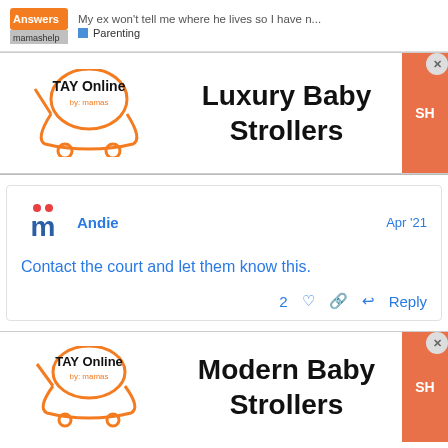My ex won't tell me where he lives so I have n... | Parenting
[Figure (advertisement): TAY Online by mamas ad banner for Luxury Baby Strollers with shop button]
Contact the court and let them know this.
[Figure (advertisement): TAY Online by mamas ad banner for Modern Baby Strollers with shop button]